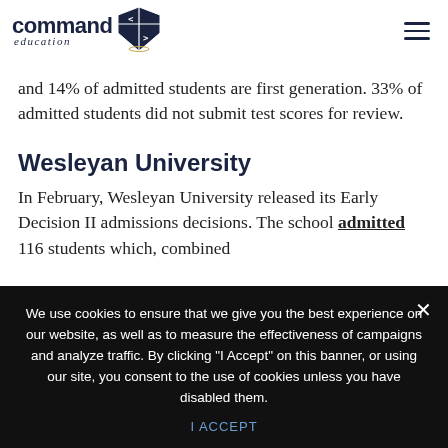command education [logo with shield]
and 14% of admitted students are first generation. 33% of admitted students did not submit test scores for review.
Wesleyan University
In February, Wesleyan University released its Early Decision II admissions decisions. The school admitted 116 students which, combined
We use cookies to ensure that we give you the best experience on our website, as well as to measure the effectiveness of campaigns and analyze traffic. By clicking "I Accept" on this banner, or using our site, you consent to the use of cookies unless you have disabled them.
I ACCEPT